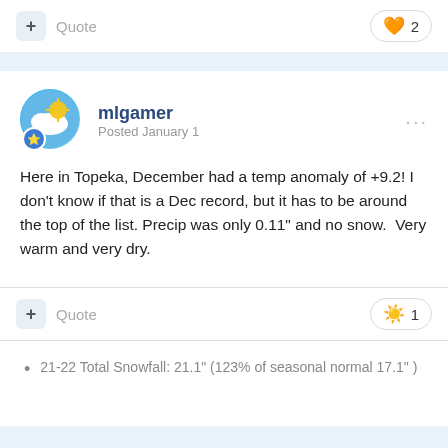+ Quote
❤️ 2
mlgamer
Posted January 1
Here in Topeka, December had a temp anomaly of +9.2! I don't know if that is a Dec record, but it has to be around the top of the list. Precip was only 0.11" and no snow.  Very warm and very dry.
+ Quote
☀️ 1
21-22 Total Snowfall: 21.1" (123% of seasonal normal 17.1" )